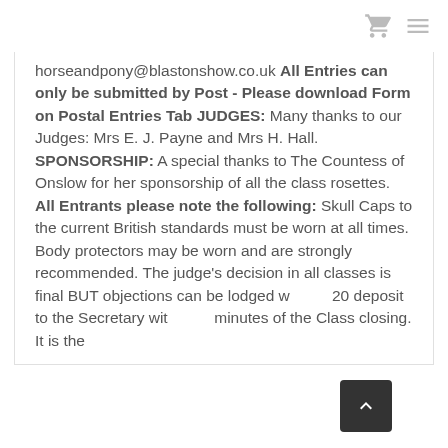[cart icon] [menu icon]
horseandpony@blastonshow.co.uk All Entries can only be submitted by Post - Please download Form on Postal Entries Tab JUDGES: Many thanks to our Judges: Mrs E. J. Payne and Mrs H. Hall. SPONSORSHIP: A special thanks to The Countess of Onslow for her sponsorship of all the class rosettes. All Entrants please note the following: Skull Caps to the current British standards must be worn at all times. Body protectors may be worn and are strongly recommended. The judge's decision in all classes is final BUT objections can be lodged with a £20 deposit to the Secretary within 15 minutes of the Class closing. It is the